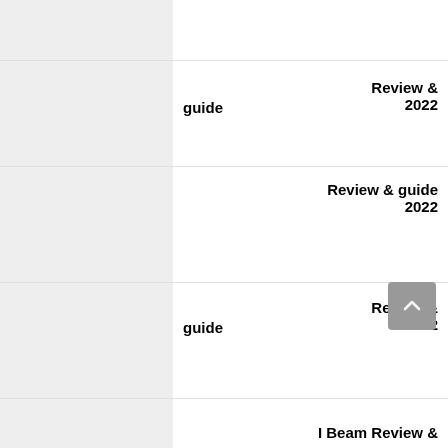[Figure (other): Thumbnail image placeholder (gray box)]
guide
Review & 2022
[Figure (other): Thumbnail image placeholder (gray box)]
Review & guide 2022
[Figure (other): Thumbnail image placeholder (gray box)]
guide
Review & 2022
[Figure (other): Thumbnail image placeholder (gray box)]
I Beam Review &